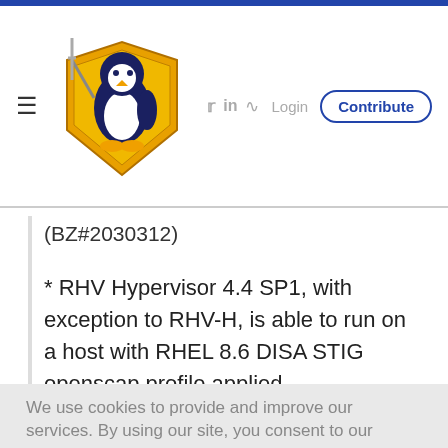[Figure (logo): Linux penguin with sword and shield logo (Linux Security Expert site)]
(BZ#2030312)
* RHV Hypervisor 4.4 SP1, with exception to RHV-H, is able to run on a host with RHEL 8.6 DISA STIG openscap profile applied.
We use cookies to provide and improve our services. By using our site, you consent to our Cookie Policy.
In this release, the SCSI reservation works for disks that are being hot-plugged. (BZ#2028481)